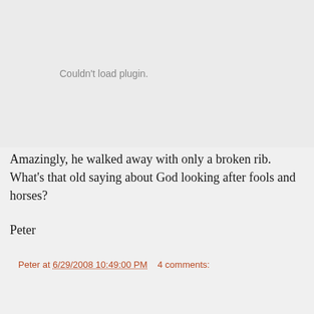[Figure (other): Plugin placeholder area with text 'Couldn't load plugin.']
Amazingly, he walked away with only a broken rib. What's that old saying about God looking after fools and horses?
Peter
Peter at 6/29/2008 10:49:00 PM     4 comments:
Share